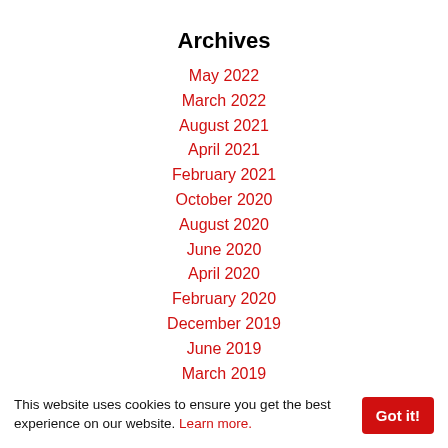Archives
May 2022
March 2022
August 2021
April 2021
February 2021
October 2020
August 2020
June 2020
April 2020
February 2020
December 2019
June 2019
March 2019
February 2019
November 2018
October 2018
This website uses cookies to ensure you get the best experience on our website. Learn more.